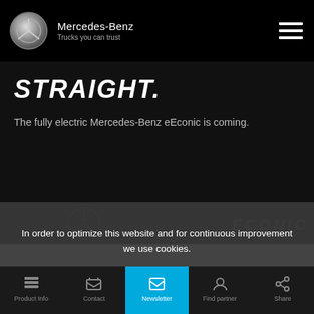Mercedes-Benz — Trucks you can trust
STRAIGHT.
The fully electric Mercedes-Benz eEconic is coming.
[Figure (photo): Mercedes-Benz eEconic truck grille with ECONIC badge, dark metallic background]
In order to optimize this website and for continuous improvement we use cookies.
We only use cookies that are necessary for the basic functions of this website.
For more information, please refer to our Cookie Statement.
Product Info | Contact | Newsletter | Find partner | Share